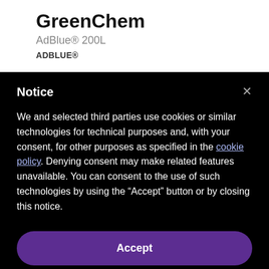GreenChem
AdBlue® 200L
ADBLUE®
Notice
We and selected third parties use cookies or similar technologies for technical purposes and, with your consent, for other purposes as specified in the cookie policy. Denying consent may make related features unavailable. You can consent to the use of such technologies by using the "Accept" button or by closing this notice.
Accept
Learn more and customize